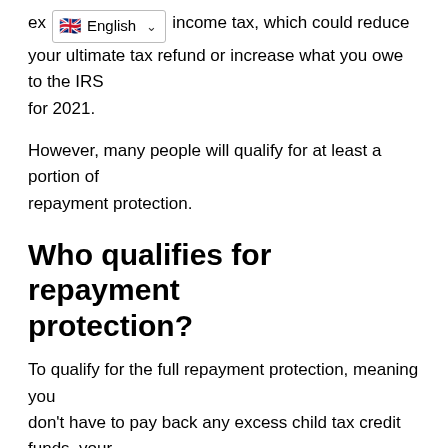ex [English dropdown] income tax, which could reduce your ultimate tax refund or increase what you owe to the IRS for 2021.
However, many people will qualify for at least a portion of repayment protection.
Who qualifies for repayment protection?
To qualify for the full repayment protection, meaning you don't have to pay back any excess child tax credit funds, your income needs to be at or below $40,000 for a single person, $50,000 for a head of household and $60,000 for a married couple.